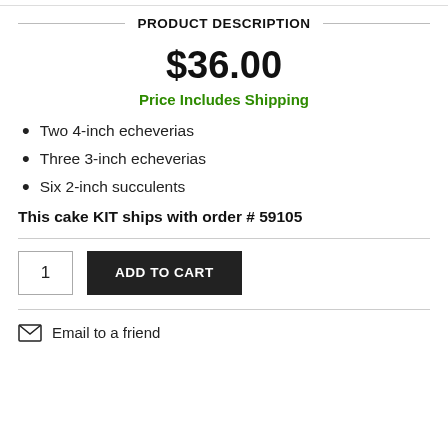PRODUCT DESCRIPTION
$36.00
Price Includes Shipping
Two 4-inch echeverias
Three 3-inch echeverias
Six 2-inch succulents
This cake KIT ships with order # 59105
ADD TO CART
Email to a friend